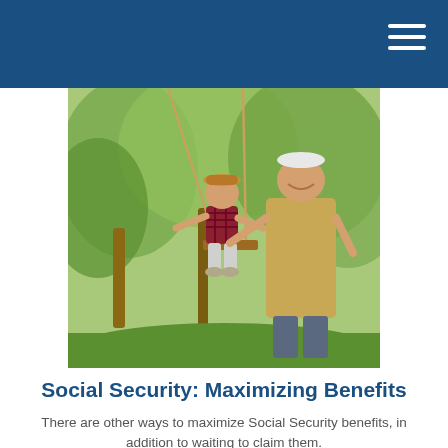[Figure (photo): An elderly man smiling and pushing a young child on a rope swing outdoors in a park with green trees in the background. The child is laughing and wearing a hat and plaid shirt.]
Social Security: Maximizing Benefits
There are other ways to maximize Social Security benefits, in addition to waiting to claim them.